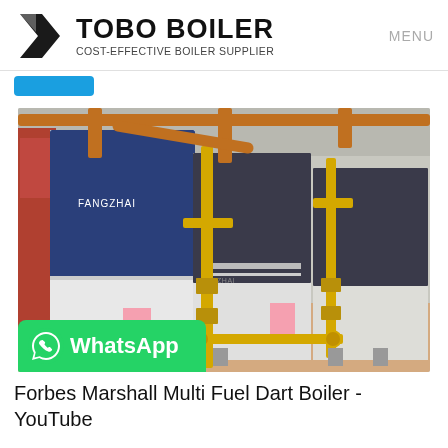TOBO BOILER COST-EFFECTIVE BOILER SUPPLIER | MENU
[Figure (photo): Industrial boiler room showing multiple large blue and white FANGZHAI brand boilers with yellow and orange pipe systems running overhead and along the floor. Three boiler units visible side by side.]
Forbes Marshall Multi Fuel Dart Boiler - YouTube